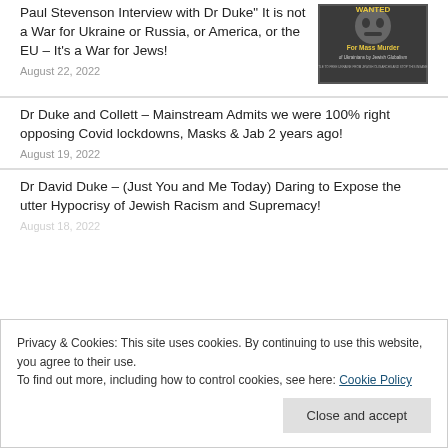Paul Stevenson Interview with Dr Duke" It is not a War for Ukraine or Russia, or America, or the EU – It's a War for Jews!
August 22, 2022
[Figure (photo): WANTED poster for Mass Murder of Ukrainians by Jewish Globalism]
Dr Duke and Collett – Mainstream Admits we were 100% right opposing Covid lockdowns, Masks & Jab 2 years ago!
August 19, 2022
Dr David Duke – (Just You and Me Today) Daring to Expose the utter Hypocrisy of Jewish Racism and Supremacy!
August 18, 2022
Privacy & Cookies: This site uses cookies. By continuing to use this website, you agree to their use.
To find out more, including how to control cookies, see here: Cookie Policy